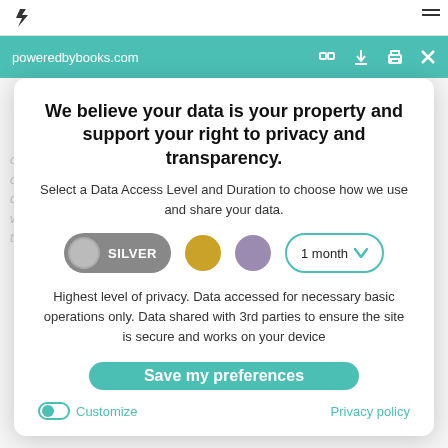poweredbybooks.com
We believe your data is your property and support your right to privacy and transparency.
Select a Data Access Level and Duration to choose how we use and share your data.
[Figure (infographic): Privacy level selector with Silver toggle button selected, two unselected circles (gold/yellow and purple/lavender), and a '1 month' dropdown selector]
Highest level of privacy. Data accessed for necessary basic operations only. Data shared with 3rd parties to ensure the site is secure and works on your device
Save my preferences
Customize
Privacy policy